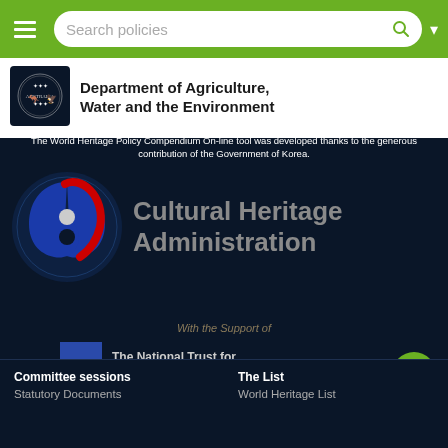Search policies
[Figure (logo): Australian Government crest logo (white decorative emblem on dark background)]
Department of Agriculture, Water and the Environment
The World Heritage Policy Compendium On-line tool was developed thanks to the generous contribution of the Government of Korea.
[Figure (logo): Cultural Heritage Administration logo — blue and red circular yin-yang style emblem with text 'Cultural Heritage Administration']
With the Support of
[Figure (logo): The National Trust for Cultural Heritage logo — blue square with dot and text]
[Figure (logo): LG Household & Health Care logo]
Committee sessions
Statutory Documents
The List
World Heritage List